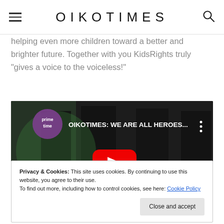OIKOTIMES
helping even more children toward a better and brighter future. Together with you KidsRights truly “gives a voice to the voiceless!”
[Figure (screenshot): YouTube video thumbnail with text 'OIKOTIMES: WE ARE ALL HEROES...' and a red play button in the center. A 'prime time' logo is visible in the top-left corner. People wearing black t-shirts are visible in the background.]
Privacy & Cookies: This site uses cookies. By continuing to use this website, you agree to their use.
To find out more, including how to control cookies, see here: Cookie Policy
Close and accept